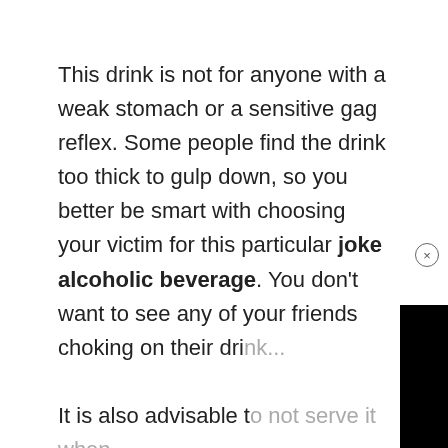This drink is not for anyone with a weak stomach or a sensitive gag reflex. Some people find the drink too thick to gulp down, so you better be smart with choosing your victim for this particular joke alcoholic beverage. You don't want to see any of your friends choking on their dri[nk...]

It is also advisable t[o not serve it when] you've already cons[umed a lot during a] drinking session. On[ce you vomit those] precious shots out of your system and onto the bar's floor. If you are planning on downing this as part of a
[Figure (screenshot): A video player overlay showing a cyan/turquoise play button logo (triangle with rounded letter i inside) on a gray background, with a black border on the left and bottom. A small close (×) button appears at the top-left of the overlay.]